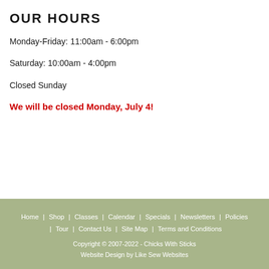OUR HOURS
Monday-Friday: 11:00am - 6:00pm
Saturday: 10:00am - 4:00pm
Closed Sunday
We will be closed Monday, July 4!
Home | Shop | Classes | Calendar | Specials | Newsletters | Policies | Tour | Contact Us | Site Map | Terms and Conditions
Copyright © 2007-2022 - Chicks With Sticks
Website Design by Like Sew Websites